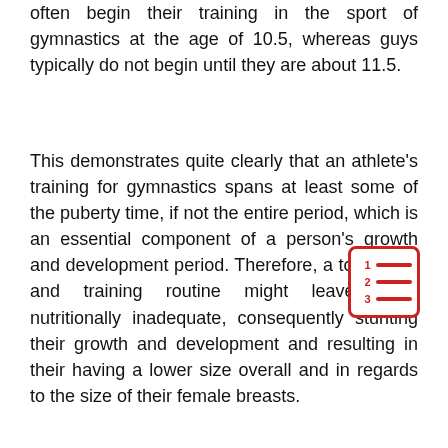often begin their training in the sport of gymnastics at the age of 10.5, whereas guys typically do not begin until they are about 11.5.
This demonstrates quite clearly that an athlete's training for gymnastics spans at least some of the puberty time, if not the entire period, which is an essential component of a person's growth and development period. Therefore, a tough diet and training routine might leave them nutritionally inadequate, consequently stunting their growth and development and resulting in their having a lower size overall and in regards to the size of their female breasts.
[Figure (other): A small icon showing a numbered list (1, 2, 3) with red horizontal lines next to each number, enclosed in a red-bordered rounded rectangle.]